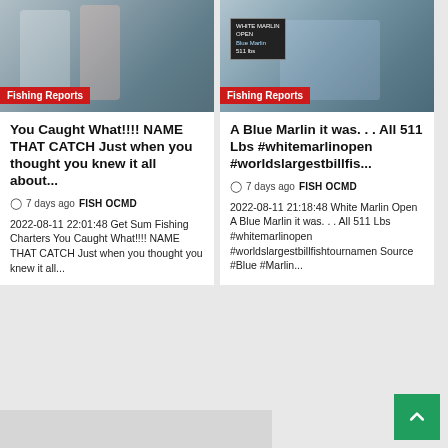[Figure (photo): Photo of people holding a fish catch, fishing charter scene]
Fishing Reports
You Caught What!!!! NAME THAT CATCH Just when you thought you knew it all about...
7 days ago  FISH OCMD
2022-08-11 22:01:48 Get Sum Fishing Charters You Caught What!!!! NAME THAT CATCH Just when you thought you knew it all...
[Figure (photo): Photo of group of men at White Marlin Open tournament with scoreboard showing Blue Marlin 511 lbs]
Fishing Reports
A Blue Marlin it was. . . All 511 Lbs #whitemarlinopen #worldslargestbillfis...
7 days ago  FISH OCMD
2022-08-11 21:18:48 White Marlin Open A Blue Marlin it was. . . All 511 Lbs #whitemarlinopen #worldslargestbillfishtournamen Source #Blue #Marlin...